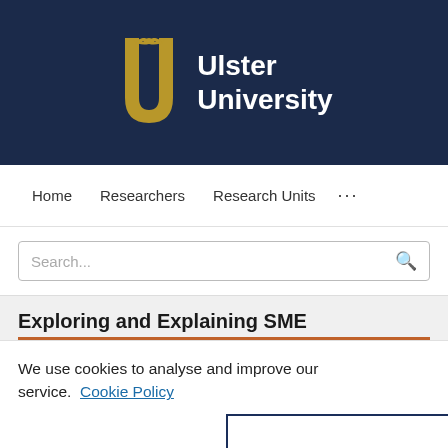[Figure (logo): Ulster University logo — gold stylised U letterform with a bird/dove at top, next to white bold text reading 'Ulster University' on a dark navy background]
Home   Researchers   Research Units   ...
Search...
Exploring and Explaining SME
We use cookies to analyse and improve our service.  Cookie Policy